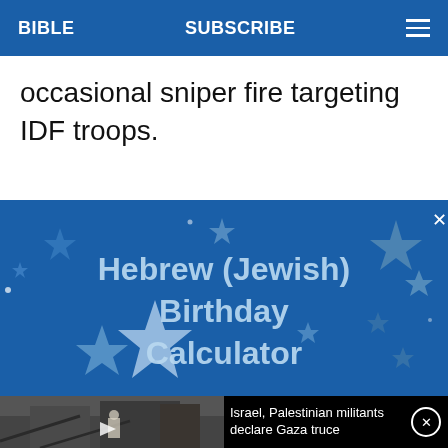BIBLE   SUBSCRIBE   ≡
occasional sniper fire targeting IDF troops.
[Figure (illustration): Hebrew (Jewish) Birthday Calculator ad banner with blue background, decorative stars, and bold light-blue text]
[Figure (screenshot): Video thumbnail showing a person standing in rubble, with dark overlay and video play button. Overlay text reads: Israel, Palestinian militants declare Gaza truce]
Israel, Palestinian militants declare Gaza truce